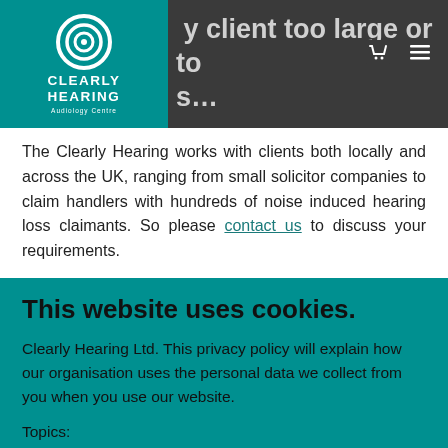No client too large or too small
[Figure (logo): Clearly Hearing Audiology Centre logo — teal background with spiral ear icon and white text]
The Clearly Hearing works with clients both locally and across the UK, ranging from small solicitor companies to claim handlers with hundreds of noise induced hearing loss claimants. So please contact us to discuss your requirements.
This website uses cookies.
Clearly Hearing Ltd. This privacy policy will explain how our organisation uses the personal data we collect from you when you use our website.
Topics:
What data do we collect?
How do we collect your data?
How will we use your data?